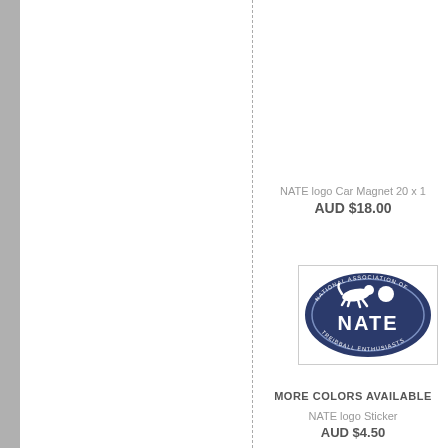NATE logo Car Magnet 20 x 1
AUD $18.00
[Figure (logo): NATE logo — National Association of Treibball Enthusiasts — dark navy blue oval badge with dog silhouette and ball, white NATE text]
MORE COLORS AVAILABLE
NATE logo Sticker
AUD $4.50